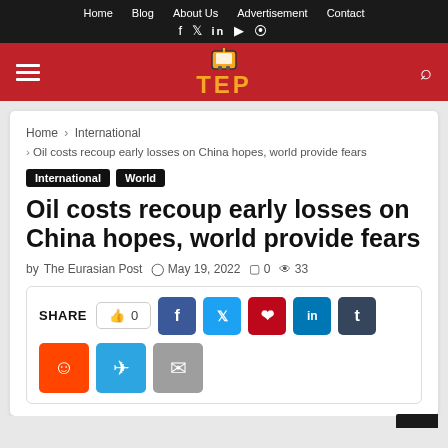Home  Blog  About Us  Advertisement  Contact  f  tw  in  yt  rss
[Figure (logo): TEP (The Eurasian Post) logo with orange text and icon on red background]
Home > International > Oil costs recoup early losses on China hopes, world provide fears
International  World
Oil costs recoup early losses on China hopes, world provide fears
by The Eurasian Post  May 19, 2022  0  33
SHARE  0  (social share buttons: Facebook, Twitter, Pinterest, LinkedIn, Tumblr, Reddit, Telegram, Email)